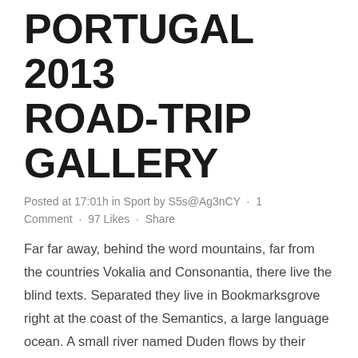PORTUGAL 2013 ROAD-TRIP GALLERY
Posted at 17:01h in Sport by S5s@Ag3nCY · 1 Comment · 97 Likes · Share
Far far away, behind the word mountains, far from the countries Vokalia and Consonantia, there live the blind texts. Separated they live in Bookmarksgrove right at the coast of the Semantics, a large language ocean. A small river named Duden flows by their place and supplies it with the necessary regelialia. It is a paradisematic country, in which roasted parts of sentences fly into your mouth. Even the all-powerful Pointing has no control about the blind